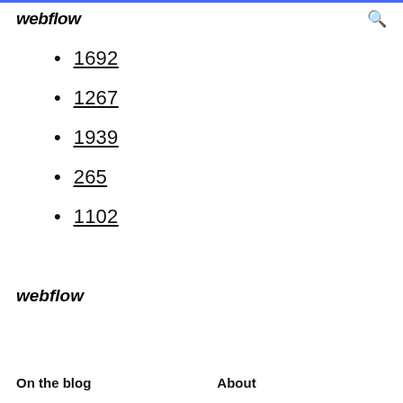webflow
1692
1267
1939
265
1102
webflow
On the blog   About